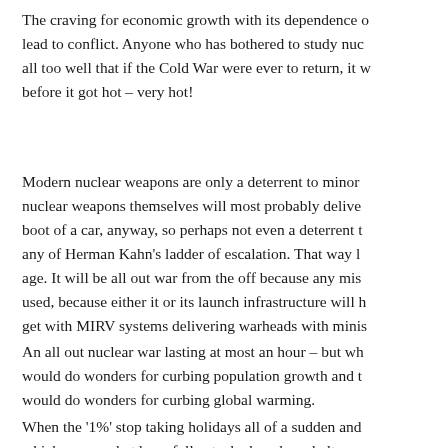The craving for economic growth with its dependence on lead to conflict. Anyone who has bothered to study nuc all too well that if the Cold War were ever to return, it w before it got hot – very hot!
Modern nuclear weapons are only a deterrent to minor nuclear weapons themselves will most probably delive boot of a car, anyway, so perhaps not even a deterrent t any of Herman Kahn's ladder of escalation. That way l age. It will be all out war from the off because any mis used, because either it or its launch infrastructure will h get with MIRV systems delivering warheads with minis
An all out nuclear war lasting at most an hour – but wh would do wonders for curbing population growth and t would do wonders for curbing global warming.
When the '1%' stop taking holidays all of a sudden and which you can bet have fully stocked nuclear shelters.